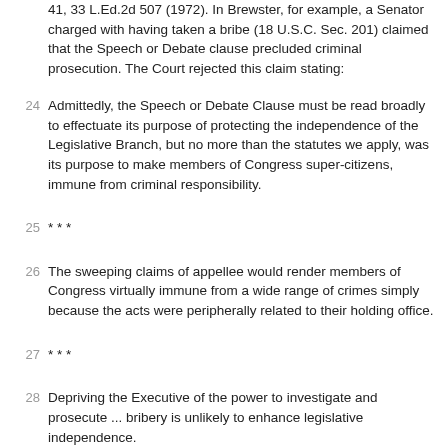41, 33 L.Ed.2d 507 (1972). In Brewster, for example, a Senator charged with having taken a bribe (18 U.S.C. Sec. 201) claimed that the Speech or Debate clause precluded criminal prosecution. The Court rejected this claim stating:
24  Admittedly, the Speech or Debate Clause must be read broadly to effectuate its purpose of protecting the independence of the Legislative Branch, but no more than the statutes we apply, was its purpose to make members of Congress super-citizens, immune from criminal responsibility.
25  * * *
26  The sweeping claims of appellee would render members of Congress virtually immune from a wide range of crimes simply because the acts were peripherally related to their holding office.
27  * * *
28  Depriving the Executive of the power to investigate and prosecute ... bribery is unlikely to enhance legislative independence.
29  Id. at 516, 520, 525, 92 S.Ct. at 2539, 2541, 2544.